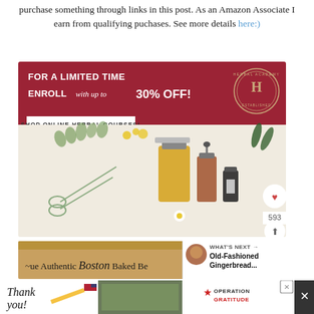purchase something through links in this post. As an Amazon Associate I earn from qualifying puchases. See more details here:)
[Figure (illustration): Herbal Academy promotional banner ad: red header with 'FOR A LIMITED TIME ENROLL with up to 30% OFF!' text, Shop Online Herbal Courses button, circular stamp logo with H, illustrated herbs, scissors, glass jars, and bottles on cream background. Heart icon with 593 count and share button on right side.]
[Figure (illustration): Authentic Boston Baked Beans recipe banner with wooden pot background. 'What's Next' panel showing Old-Fashioned Gingerbread.]
[Figure (illustration): Bottom advertisement strip: Thank You military appreciation ad with Operation Gratitude logo. Close button on right.]